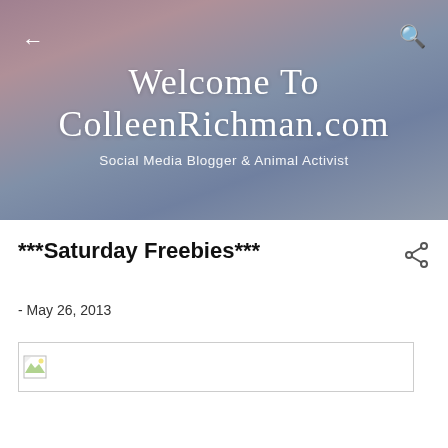Welcome To ColleenRichman.com — Social Media Blogger & Animal Activist
***Saturday Freebies***
- May 26, 2013
[Figure (photo): Broken image placeholder (image failed to load)]